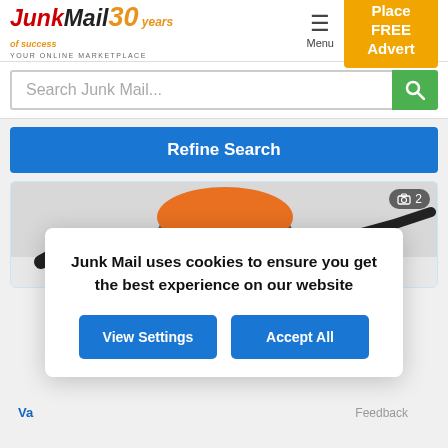[Figure (logo): Junk Mail 30 Years logo with tagline YOUR ONLINE MARKETPLACE]
[Figure (screenshot): Place FREE Advert button in amber/gold color]
[Figure (screenshot): Search bar with placeholder 'Search Junk Mail...' and green search button]
Refine Search
[Figure (photo): Vacuum cleaner (orange and grey/black) photo with camera icon showing 2 photos]
Va...
Feedback
Junk Mail uses cookies to ensure you get the best experience on our website
View Settings
Accept All